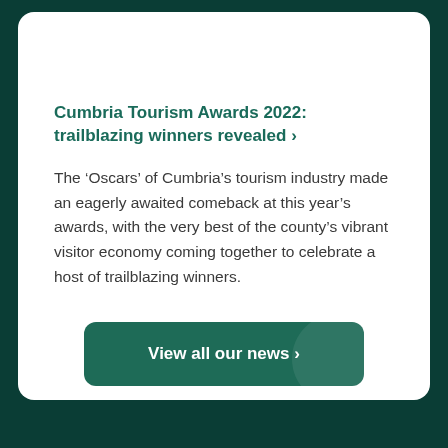Cumbria Tourism Awards 2022: trailblazing winners revealed >
The ‘Oscars’ of Cumbria’s tourism industry made an eagerly awaited comeback at this year’s awards, with the very best of the county’s vibrant visitor economy coming together to celebrate a host of trailblazing winners.
View all our news >